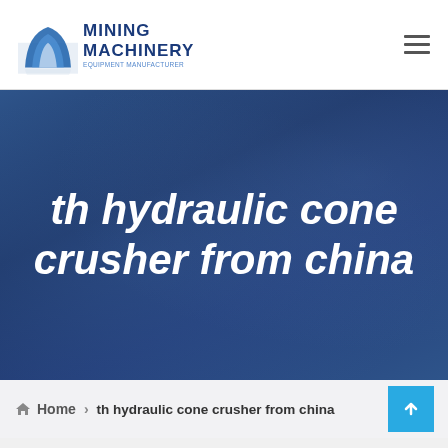[Figure (logo): Mining Machinery company logo with blue arch/mountain graphic and text MINING MACHINERY in bold blue letters]
th hydraulic cone crusher from china
Home > th hydraulic cone crusher from china